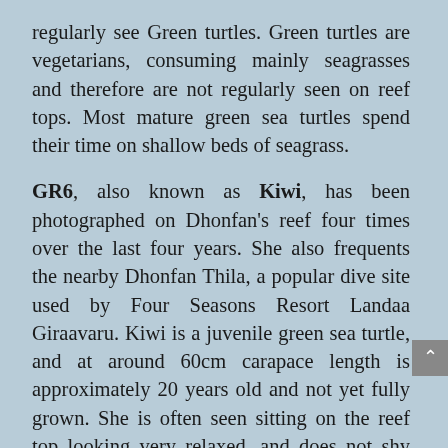regularly see Green turtles. Green turtles are vegetarians, consuming mainly seagrasses and therefore are not regularly seen on reef tops. Most mature green sea turtles spend their time on shallow beds of seagrass.
GR6, also known as Kiwi, has been photographed on Dhonfan's reef four times over the last four years. She also frequents the nearby Dhonfan Thila, a popular dive site used by Four Seasons Resort Landaa Giraavaru. Kiwi is a juvenile green sea turtle, and at around 60cm carapace length is approximately 20 years old and not yet fully grown. She is often seen sitting on the reef top looking very relaxed, and does not shy away from approaching divers. When Kiwi becomes mature and ready to mate, she will